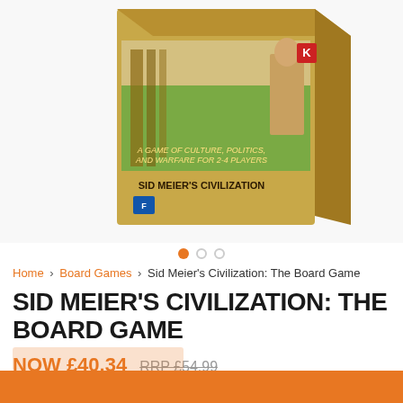[Figure (photo): Product photo of Sid Meier's Civilization: The Board Game box, shown at an angle with green landscape and a figure on the cover]
• ○ ○ (image carousel dots)
Home > Board Games > Sid Meier's Civilization: The Board Game
SID MEIER'S CIVILIZATION: THE BOARD GAME
NOW £40.34  RRP £54.99
EARN 4035 VICTORY POINTS
Notify me when this product is available to purchase!
🍪 We use cookies on our website to make sure it works the best it can for you. By continuing, you are accepting our Cookie Policy. Hide Notice.